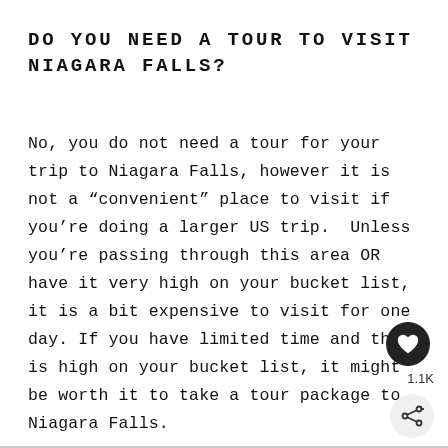DO YOU NEED A TOUR TO VISIT NIAGARA FALLS?
No, you do not need a tour for your trip to Niagara Falls, however it is not a “convenient” place to visit if you’re doing a larger US trip.  Unless you’re passing through this area OR have it very high on your bucket list, it is a bit expensive to visit for one day. If you have limited time and this is high on your bucket list, it might be worth it to take a tour package to Niagara Falls.